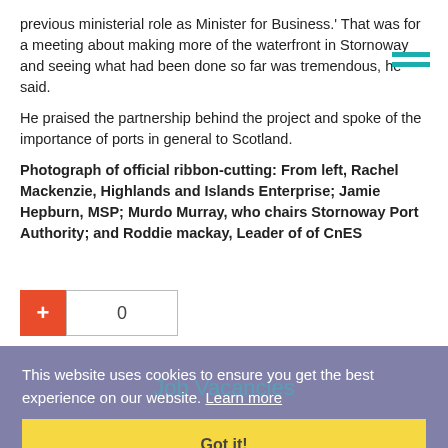previous ministerial role as Minister for Business.' That was for a meeting about making more of the waterfront in Stornoway and seeing what had been done so far was tremendous, he said.
He praised the partnership behind the project and spoke of the importance of ports in general to Scotland.
Photograph of official ribbon-cutting: From left, Rachel Mackenzie, Highlands and Islands Enterprise; Jamie Hepburn, MSP; Murdo Murray, who chairs Stornoway Port Authority; and Roddie mackay, Leader of of CnES
[Figure (other): Cookie consent banner overlapping with Job Vacancies section and a Got it! button. Plus button with counter showing 0.]
| Barista - Calanais Centre |
| Office Administrator/Receptionist |